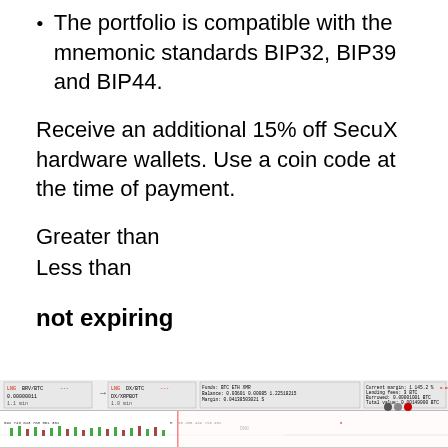The portfolio is compatible with the mnemonic standards BIP32, BIP39 and BIP44.
Receive an additional 15% off SecuX hardware wallets. Use a coin code at the time of payment.
Greater than
Less than
not expiring
[Figure (screenshot): Screenshot of a cryptocurrency trading interface showing BTC/BTC and DX/BTC pairs, margin trading data including balance, lending fees, current margin percentage, profit/loss in BTC, and a candlestick chart with a red vertical line marker.]